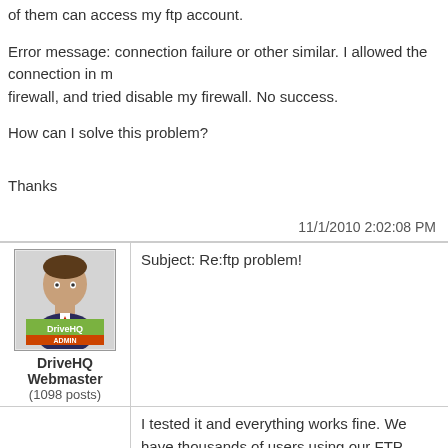of them can access my ftp account.
Error message: connection failure or other similar. I allowed the connection in my firewall, and tried disable my firewall. No success.
How can I solve this problem?
Thanks
11/1/2010 2:02:08 PM
Subject: Re:ftp problem!
[Figure (illustration): DriveHQ Webmaster avatar - cartoon figure with DriveHQ Admin label]
DriveHQ Webmaster
(1098 posts)
I tested it and everything works fine. We have thousands of users using our FTP service at any time. We have not heard of any other reports. Please double check your firewall, anti-virus software or security software settings.
You can also use DriveHQ FileManager 5.0 client software. DriveHQ FileManager is seamlessly integrated with DriveHQ cloud storage service. It